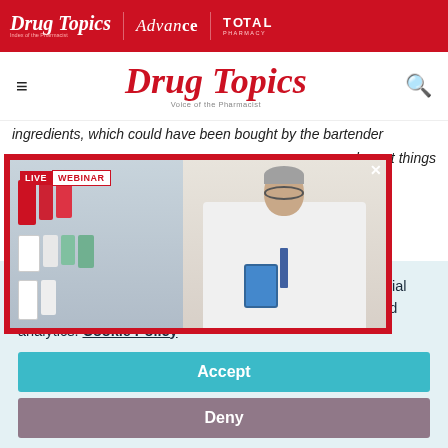Drug Topics | Advance | TOTAL PHARMACY
Drug Topics — Voice of the Pharmacist
ingredients, which could have been bought by the bartender … he got things
[Figure (photo): Live Webinar popup overlay with red border showing a pharmacist in a white coat holding a tablet, standing in front of pharmacy shelves]
…enschwander
…evelopment
This website stores data such as cookies to enable essential site functionality, as well as marketing, personalization, and analytics. Cookie Policy
Accept
Deny